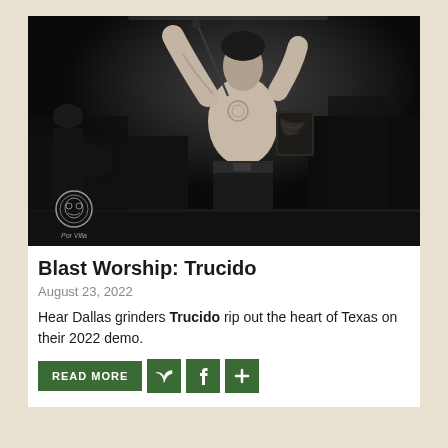[Figure (photo): Black and white concert photo of a performer on stage, shirtless with tattoos, playing guitar or performing energetically. A small logo watermark in the lower left reads 'Por Villa'.]
Blast Worship: Trucido
August 23, 2022
Hear Dallas grinders Trucido rip out the heart of Texas on their 2022 demo.